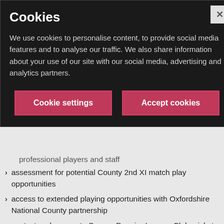Cookies
We use cookies to personalise content, to provide social media features and to analyse our traffic. We also share information about your use of our site with our social media, advertising and analytics partners.
professional players and staff
assessment for potential County 2nd XI match play opportunities
access to extended playing opportunities with Oxfordshire National County partnership
contact and access to Sussex Premier League Club cricket.
The programme will take place at the university and at Eastbourne College and will include:
personalised strength and conditioning screening